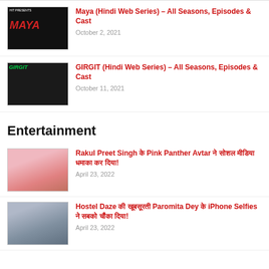Maya (Hindi Web Series) – All Seasons, Episodes & Cast
October 2, 2021
GIRGIT (Hindi Web Series) – All Seasons, Episodes & Cast
October 11, 2021
Entertainment
Rakul Preet Singh के Pink Panther Avtar ने सोशल मीडिया धमाका कर दिया!
April 23, 2022
Hostel Daze की खूबसूरती Paromita Dey के iPhone Selfies ने सबको चौंका दिया!
April 23, 2022